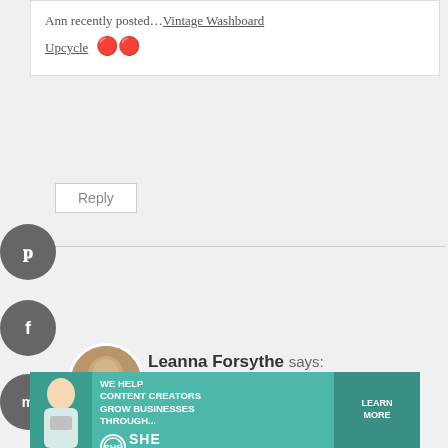Ann recently posted… Vintage Washboard Upcycle 🔴
Reply
Leanna Forsythe says:
n Thank you Ann. I am excited about the feature, I can't wait to see it on Apple Street Cottage.
[Figure (infographic): SHE Media partner network advertisement banner with teal background, person photo, logo, and Learn More button]